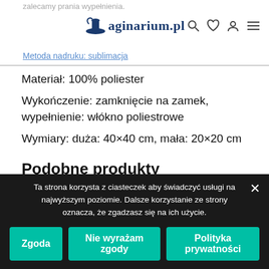maginarium.pl | zalecamy prania wypełnienia. | Metoda nadruku: sublimacja
Materiał: 100% poliester
Wykończenie: zamknięcie na zamek, wypełnienie: włókno poliestrowe
Wymiary: duża: 40×40 cm, mała: 20×20 cm
Podobne produkty
We use cookies on our website to give you the most
Ta strona korzysta z ciasteczek aby świadczyć usługi na najwyższym poziomie. Dalsze korzystanie ze strony oznacza, że zgadzasz się na ich użycie.
Zgoda | Nie wyrażam zgody | Polityka prywatności